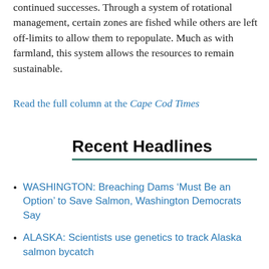continued successes. Through a system of rotational management, certain zones are fished while others are left off-limits to allow them to repopulate. Much as with farmland, this system allows the resources to remain sustainable.
Read the full column at the Cape Cod Times
Recent Headlines
WASHINGTON: Breaching Dams ‘Must Be an Option’ to Save Salmon, Washington Democrats Say
ALASKA: Scientists use genetics to track Alaska salmon bycatch
New collaboration looks to expose, end labor violations in UK fishing industry